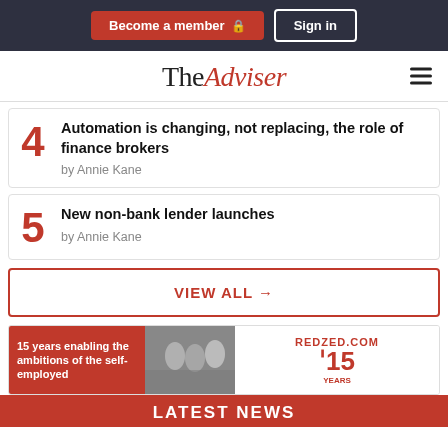Become a member | Sign in
TheAdviser
4 Automation is changing, not replacing, the role of finance brokers by Annie Kane
5 New non-bank lender launches by Annie Kane
VIEW ALL →
[Figure (illustration): RedZed advertisement: 15 years enabling the ambitions of the self-employed. REDZED.COM with logo and three people photo.]
LATEST NEWS